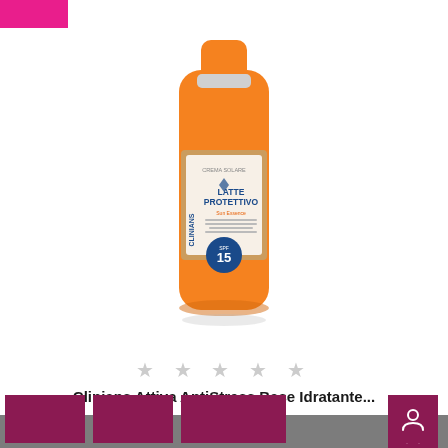[Figure (photo): Orange bottle of Clinians Latte Protettivo sunscreen lotion with SPF 15, shown on white background]
★ ★ ★ ★ ★
Clinians Attiva AntiStress Base Idratante...
4,71 €
This site uses technical and third-party cookies for features such as sharing on social networks and / or media viewing. If you do not consent to the use of third-party cookies, some of these features may not be available. For more information, see the sections at the bottom of the page